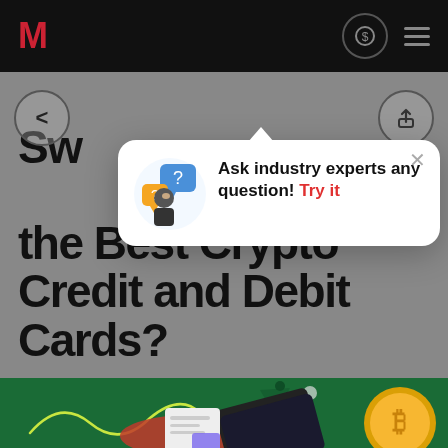M (logo) | navigation icons
[Figure (screenshot): Mobile website header with dark navbar containing red M logo on left and navigation icons (dollar chat bubble, hamburger menu) on right]
[Figure (infographic): Popup modal card with illustration of woman with question marks, text: Ask industry experts any question! Try it, with X close button]
Sw...re the Best Crypto Credit and Debit Cards?
[Figure (illustration): Green background section with crypto credit/debit card illustration featuring Bitcoin coin, payment cards, and decorative shapes]